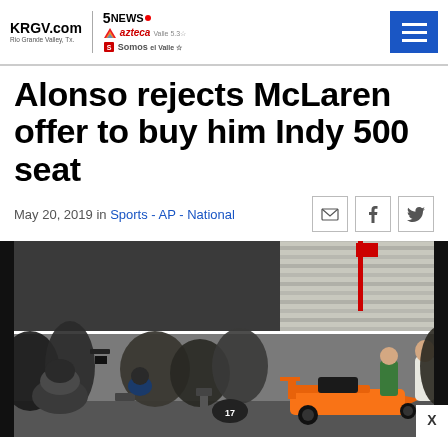KRGV.com Rio Grande Valley, Tx. | 5NEWS | azteca | Somos
Alonso rejects McLaren offer to buy him Indy 500 seat
May 20, 2019 in Sports - AP - National
[Figure (photo): Crowd of people and photographers gathered near an orange IndyCar (McLaren) on the pit lane at Indianapolis Motor Speedway]